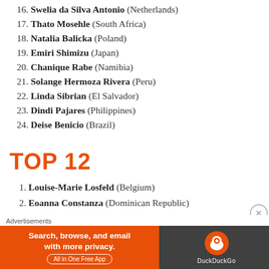16. Swelia da Silva Antonio (Netherlands)
17. Thato Mosehle (South Africa)
18. Natalia Balicka (Poland)
19. Emiri Shimizu (Japan)
20. Chanique Rabe (Namibia)
21. Solange Hermoza Rivera (Peru)
22. Linda Sibrian (El Salvador)
23. Dindi Pajares (Philippines)
24. Deise Benicio (Brazil)
TOP 12
1. Louise-Marie Losfeld (Belgium)
2. Eoanna Constanza (Dominican Republic)
3. Swelia da Silva Antonio (Netherlands)
4. Natalia Balicka (Poland)
Advertisements
[Figure (other): DuckDuckGo advertisement banner: 'Search, browse, and email with more privacy. All in One Free App' with DuckDuckGo logo]